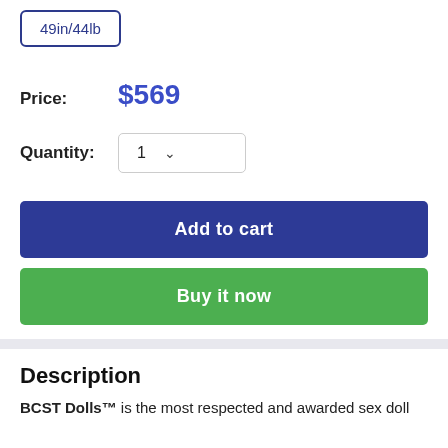49in/44lb
Price: $569
Quantity: 1
Add to cart
Buy it now
Description
BCST Dolls™ is the most respected and awarded sex doll